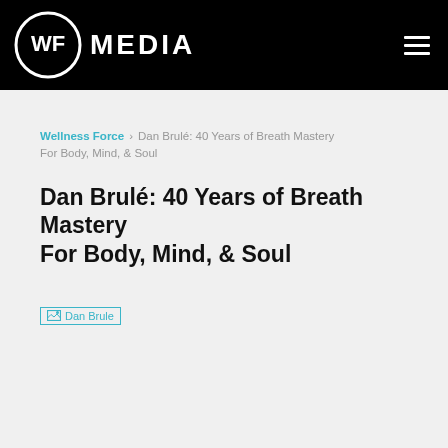WF MEDIA
Wellness Force > Dan Brulé: 40 Years of Breath Mastery For Body, Mind, & Soul
Dan Brulé: 40 Years of Breath Mastery For Body, Mind, & Soul
[Figure (photo): Broken image placeholder labeled 'Dan Brule']